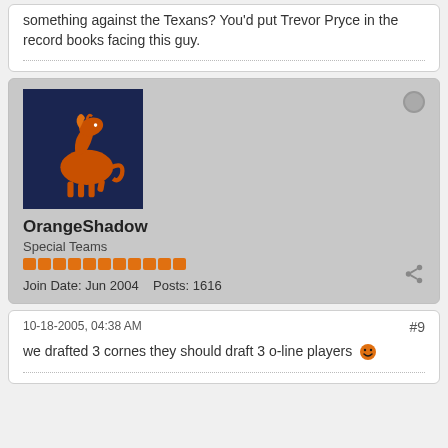something against the Texans? You'd put Trevor Pryce in the record books facing this guy.
OrangeShadow
Special Teams
Join Date: Jun 2004    Posts: 1616
10-18-2005, 04:38 AM
#9
we drafted 3 cornes they should draft 3 o-line players 😊